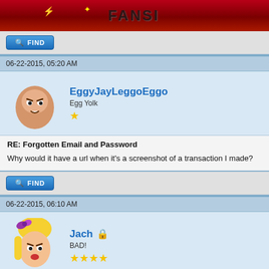[Figure (screenshot): Forum website banner with dark red/brown gradient background and stylized forum title text]
[Figure (other): Blue FIND button with magnifying glass icon]
06-22-2015, 05:20 AM
[Figure (other): User avatar: cartoon angry egg face (EggyJayLeggoEggo), username in blue, rank Egg Yolk, one gold star]
RE: Forgotten Email and Password
Why would it have a url when it's a screenshot of a transaction I made?
[Figure (other): Blue FIND button with magnifying glass icon]
06-22-2015, 06:10 AM
[Figure (other): User avatar: cartoon blonde girl with purple bow (Jach), username in blue with green moderator icon, rank BAD!, four gold stars]
RE: Forgotten Email and Password
Ok, so click on the screen shot with left mouse click, select 'copy', [img]p thread like Tenchi said. Good luck.